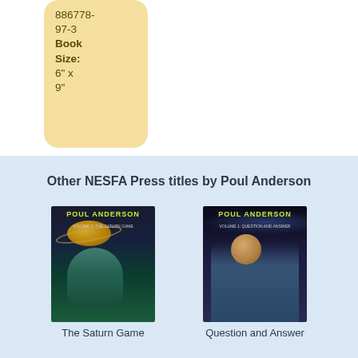886778-97-3
Book Size:
6" x 9"
Other NESFA Press titles by Poul Anderson
[Figure (photo): Book cover: The Saturn Game by Poul Anderson, showing a planet with rings and an alien figure]
The Saturn Game
[Figure (photo): Book cover: Question and Answer by Poul Anderson, showing a warrior/astronaut figure]
Question and Answer